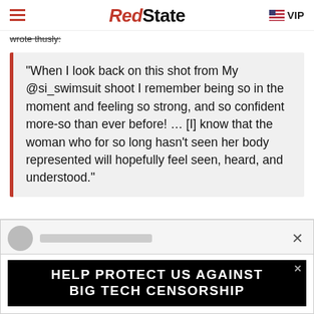RedState VIP
wrote thusly:
“When I look back on this shot from My @si_swimsuit shoot I remember being so in the moment and feeling so strong, and so confident more-so than ever before! … [I] know that the woman who for so long hasn’t seen her body represented will hopefully feel seen, heard, and understood.”
[Figure (screenshot): Advertisement banner reading HELP PROTECT US AGAINST BIG TECH CENSORSHIP on a black background, with a social media comment preview above it and a close button.]